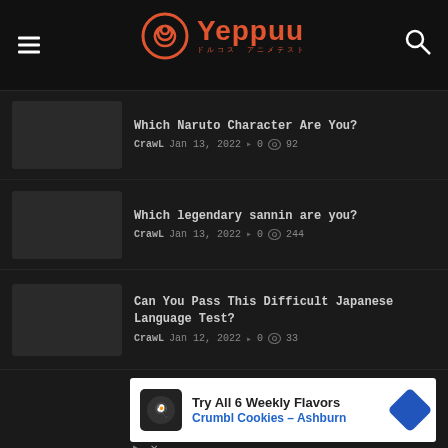[Figure (logo): Yeppuu website logo with spiral icon and Japanese text subtitle]
Which Naruto Character Are You? — CrawL  Jan 13, 2022  0  92
Which legendary sannin are you? — CrawL  Jan 13, 2022  0  244
Can You Pass This Difficult Japanese Language Test? — CrawL  Jan 12, 2022  0  33
[Figure (infographic): Advertisement banner: Try All 6 Weekly Flavors, Crumbl Cookies - Ashburn, with chef cookie logo and blue arrow icon]